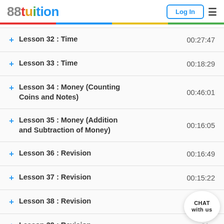88tuition — Log In
+ Lesson 32 : Time   00:27:47
+ Lesson 33 : Time   00:18:29
+ Lesson 34 : Money (Counting Coins and Notes)   00:46:01
+ Lesson 35 : Money (Addition and Subtraction of Money)   00:16:05
+ Lesson 36 : Revision   00:16:49
+ Lesson 37 : Revision   00:15:22
+ Lesson 38 : Revision   00:19:42
+ Lesson 39 : Revision   00:…